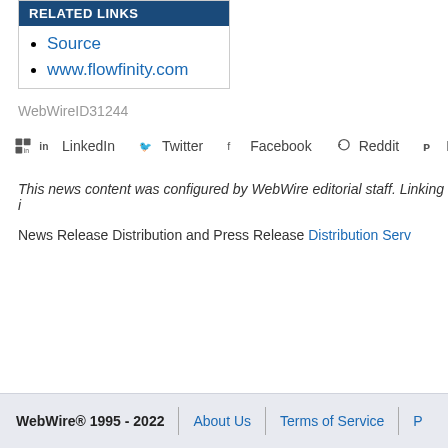RELATED LINKS
Source
www.flowfinity.com
WebWireID31244
LinkedIn  Twitter  Facebook  Reddit  Pinterest
This news content was configured by WebWire editorial staff. Linking i
News Release Distribution and Press Release Distribution Serv
WebWire® 1995 - 2022  About Us  Terms of Service  P